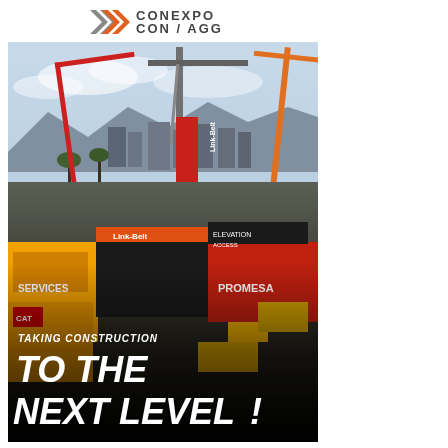[Figure (logo): CONEXPO CON/AGG logo with double chevron arrows in gray and orange]
[Figure (photo): Aerial view of CONEXPO-CON/AGG construction equipment trade show in Las Vegas, showing cranes, heavy equipment, colorful booths including CAT and Link-Belt, with Las Vegas skyline and mountains in background. Text overlaid: TAKING CONSTRUCTION TO THE NEXT LEVEL!]